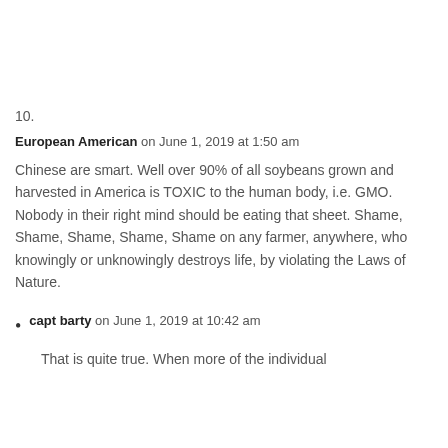10.
European American on June 1, 2019 at 1:50 am
Chinese are smart. Well over 90% of all soybeans grown and harvested in America is TOXIC to the human body, i.e. GMO. Nobody in their right mind should be eating that sheet. Shame, Shame, Shame, Shame, Shame on any farmer, anywhere, who knowingly or unknowingly destroys life, by violating the Laws of Nature.
capt barty on June 1, 2019 at 10:42 am
That is quite true. When more of the individual f...